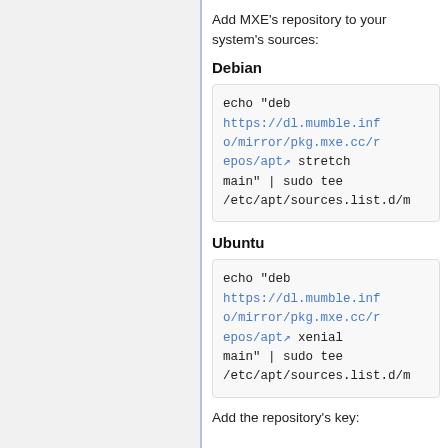Add MXE's repository to your system's sources:
Debian
echo "deb https://dl.mumble.info/mirror/pkg.mxe.cc/repos/apt stretch main" | sudo tee /etc/apt/sources.list.d/m
Ubuntu
echo "deb https://dl.mumble.info/mirror/pkg.mxe.cc/repos/apt xenial main" | sudo tee /etc/apt/sources.list.d/m
Add the repository's key: